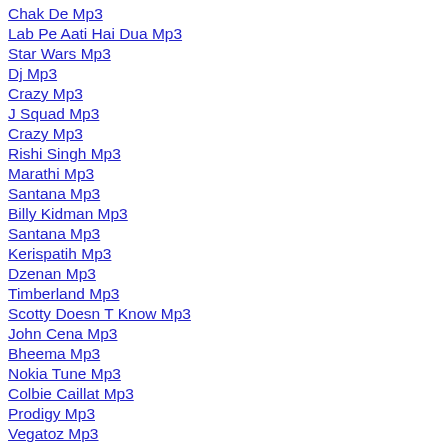Chak De Mp3
Lab Pe Aati Hai Dua Mp3
Star Wars Mp3
Dj Mp3
Crazy Mp3
J Squad Mp3
Crazy Mp3
Rishi Singh Mp3
Marathi Mp3
Santana Mp3
Billy Kidman Mp3
Santana Mp3
Kerispatih Mp3
Dzenan Mp3
Timberland Mp3
Scotty Doesn T Know Mp3
John Cena Mp3
Bheema Mp3
Nokia Tune Mp3
Colbie Caillat Mp3
Prodigy Mp3
Vegatoz Mp3
Ya Taiba Mp3
Yves Larock Rise Up Mp3
Sex Mp3